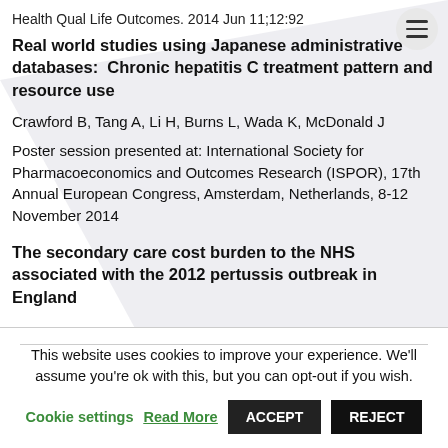Health Qual Life Outcomes. 2014 Jun 11;12:92
Real world studies using Japanese administrative databases:  Chronic hepatitis C treatment pattern and resource use
Crawford B, Tang A, Li H, Burns L, Wada K, McDonald J
Poster session presented at: International Society for Pharmacoeconomics and Outcomes Research (ISPOR), 17th Annual European Congress, Amsterdam, Netherlands, 8-12 November 2014
The secondary care cost burden to the NHS associated with the 2012 pertussis outbreak in England
This website uses cookies to improve your experience. We'll assume you're ok with this, but you can opt-out if you wish.
Cookie settings   Read More   ACCEPT   REJECT